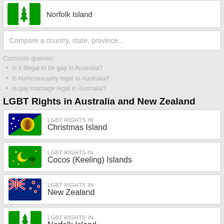[Figure (illustration): Norfolk Island flag with country name card at top]
Norfolk Island
Compare a country, state, province...
Common queries:
Is it illegal to be gay in Australia?
Is homosexuality legal in Australia?
Is gay marriage legal in Australia?
LGBT Rights in Australia and New Zealand
[Figure (illustration): Christmas Island flag]
LGBT RIGHTS IN
Christmas Island
[Figure (illustration): Cocos (Keeling) Islands flag]
LGBT RIGHTS IN
Cocos (Keeling) Islands
[Figure (illustration): New Zealand flag]
LGBT RIGHTS IN
New Zealand
[Figure (illustration): Norfolk Island flag]
LGBT RIGHTS IN
Norfolk Island